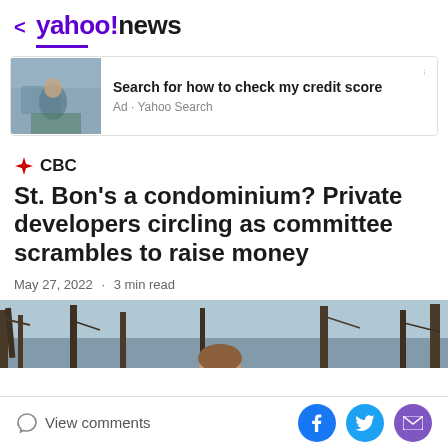< yahoo!news
[Figure (screenshot): Advertisement banner: image of person sitting in chair with laptop, with text 'Search for how to check my credit score' and 'Ad · Yahoo Search']
Search for how to check my credit score
Ad · Yahoo Search
CBC
St. Bon's a condominium? Private developers circling as committee scrambles to raise money
May 27, 2022 · 3 min read
[Figure (photo): Partial outdoor photo showing trees with bare branches against a grey-blue sky, with a person's head visible at bottom]
View comments